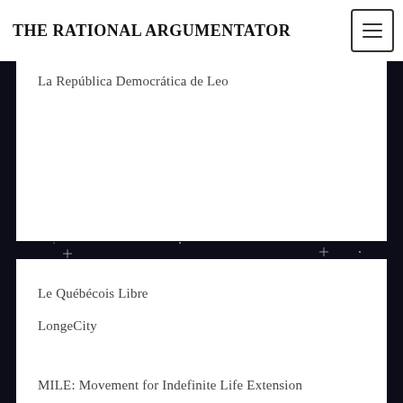THE RATIONAL ARGUMENTATOR
La República Democrática de Leo
Le Québécois Libre
LongeCity
The Ludwig von Mises Institute
MILE: Movement for Indefinite Life Extension
MPrize: The Methuselah Foundation